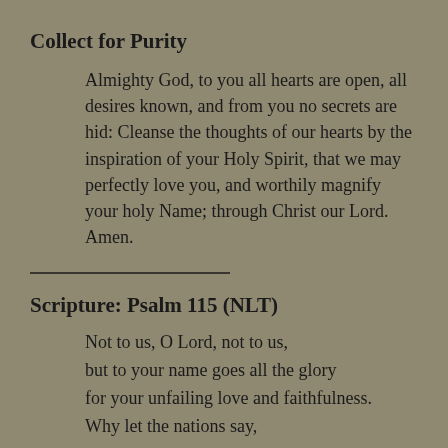Collect for Purity
Almighty God, to you all hearts are open, all desires known, and from you no secrets are hid: Cleanse the thoughts of our hearts by the inspiration of your Holy Spirit, that we may perfectly love you, and worthily magnify your holy Name; through Christ our Lord. Amen.
Scripture: Psalm 115 (NLT)
Not to us, O Lord, not to us,
but to your name goes all the glory
for your unfailing love and faithfulness.
Why let the nations say,